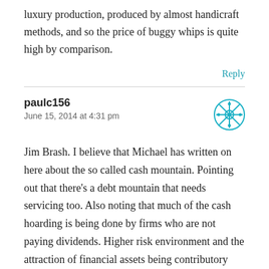luxury production, produced by almost handicraft methods, and so the price of buggy whips is quite high by comparison.
Reply
paulc156
June 15, 2014 at 4:31 pm
Jim Brash. I believe that Michael has written on here about the so called cash mountain. Pointing out that there's a debt mountain that needs servicing too. Also noting that much of the cash hoarding is being done by firms who are not paying dividends. Higher risk environment and the attraction of financial assets being contributory factors. Seems pretty straightforward to